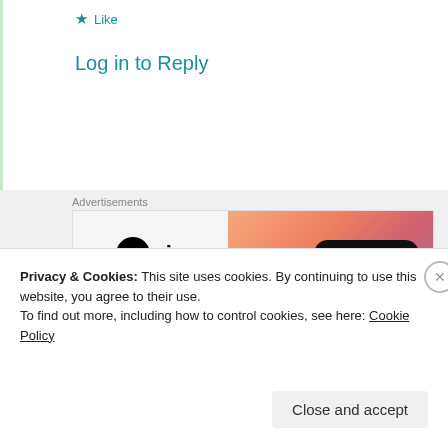★ Like
Log in to Reply
Advertisements
[Figure (other): WordPress VIP advertisement banner with gradient orange/pink background and Learn more button]
REPORT THIS AD
tkbrown
24th Aug 2021 at 9:59 am
Privacy & Cookies: This site uses cookies. By continuing to use this website, you agree to their use.
To find out more, including how to control cookies, see here: Cookie Policy
Close and accept